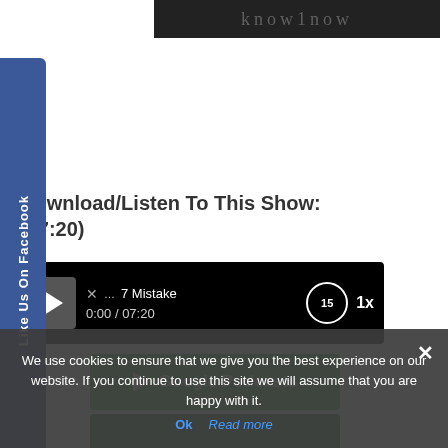[Figure (screenshot): Top image strip with website header/logo area in dark background]
[Figure (screenshot): Facebook Like Us sidebar button in dark blue]
Download/Listen To This Show: (07:20)
[Figure (screenshot): Audio player with play button, time 0:00 / 07:20, title 7 Mistakes, skip 15s circle, 1x speed control]
[Figure (screenshot): Google Podcasts button (green)]
[Figure (screenshot): Partially visible dark green button below Google Podcasts]
We use cookies to ensure that we give you the best experience on our website. If you continue to use this site we will assume that you are happy with it.
Ok   Read more